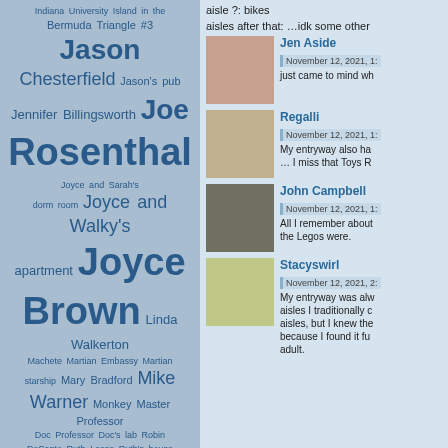[Figure (infographic): Tag cloud on blue-grey background with character/location names in varying sizes. Includes: Indiana University Island in the Bermuda Triangle #3, Jason Chesterfield, Jason's pub, Jennifer Billingsworth, Joe Rosenthal, Joyce and Sarah's dorm room, Joyce and Walky's apartment, Joyce Brown, Linda Walkerton, Machete, Martian Embassy, Martian starship, Mary Bradford, Mike Warner, Monkey Master, Professor Doc, Professor Doc's lab, Robin DeSanto, Ruth Lesse, Ruth's house, Sal Walters, Sarah Clinton, SEMME Complex, Squad 128's apartment, Steve Walkerton, Storage and Lockdown, The Cheese, The Wedding Church, Tony McHenry, Ultra Car]
aisle ?: bikes
aisles after that: …idk some other
Jen Aside
November 12, 2021, 1:
just came to mind wh
Regalli
November 12, 2021, 1:
My entryway also ha
… I miss that Toys R
John Campbell
November 12, 2021, 1:
All I remember about the Legos were.
Stacyswirl
November 12, 2021, 2:
My entryway was alw aisles I traditionally c aisles, but I knew the because I found it fu adult.